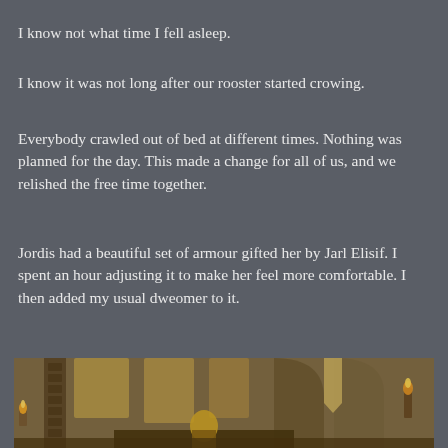I know not what time I fell asleep.
I know it was not long after our rooster started crowing.
Everybody crawled out of bed at different times. Nothing was planned for the day. This made a change for all of us, and we relished the free time together.
Jordis had a beautiful set of armour gifted her by Jarl Elisif. I spent an hour adjusting it to make her feel more comfortable. I then added my usual dweomer to it.
[Figure (screenshot): Screenshot from a video game (likely Skyrim) showing an interior tavern or hall scene with stone arches, wooden beams, windows with warm light, banners, candles, and a character with blonde hair seated at a table in the foreground.]